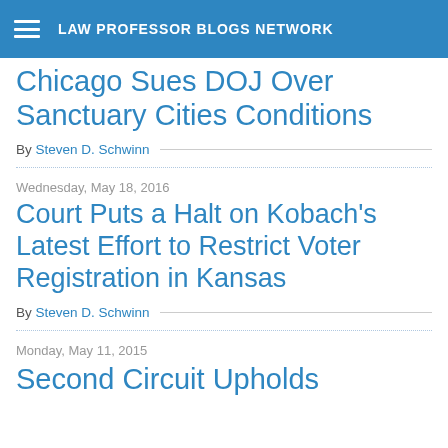LAW PROFESSOR BLOGS NETWORK
Chicago Sues DOJ Over Sanctuary Cities Conditions
By Steven D. Schwinn
Court Puts a Halt on Kobach's Latest Effort to Restrict Voter Registration in Kansas
Wednesday, May 18, 2016
By Steven D. Schwinn
Monday, May 11, 2015
Second Circuit Upholds